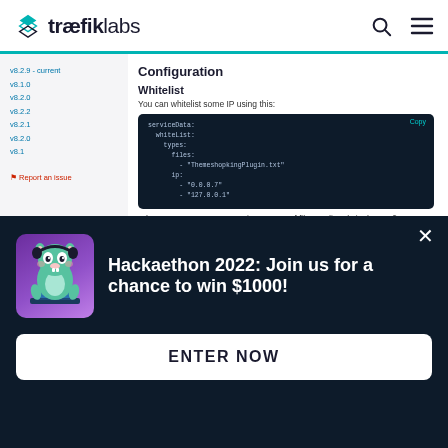træfiklabs
v8.2.9 - current
v8.1.0
v8.2.0
v8.2.2
v8.2.1
v8.2.0
v8.1
Configuration
Whitelist
You can whitelist some IP using this:
[Figure (screenshot): Dark code block showing YAML configuration for ipwhiteList with whitelist, types, files (ThemeshopkingPlugin.txt) and ip entries (0.0.0.7, 127.0.0.1)]
Where you can use some IP in an array of files or directly in the config.
Blacklist
Like whitelist, you can blacklist some IP using this:
[Figure (screenshot): Dark code block showing YAML configuration for ipBlackList with blacklist, types, files (ThemeshopkingPlugin.txt) and ip entries (0.0.0.7, 127.0.0.1)]
[Figure (infographic): Popup banner with mascot gopher character wearing headphones. Text: Hackaethon 2022: Join us for a chance to win $1000! Button: ENTER NOW]